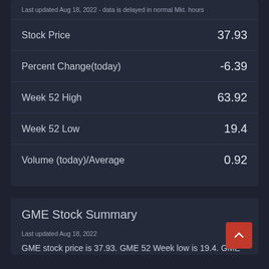Last updated Aug 18, 2022 - data is delayed in normal Mkt. hours
|  |  |
| --- | --- |
| Stock Price | 37.93 |
| Percent Change(today) | -6.39 |
| Week 52 High | 63.92 |
| Week 52 Low | 19.4 |
| Volume (today)/Average | 0.92 |
GME Stock Summary
Last updated Aug 18, 2022
GME stock price is 37.93. GME 52 Week low is 19.4. GME 52 Week high is 63.92. GME 000...